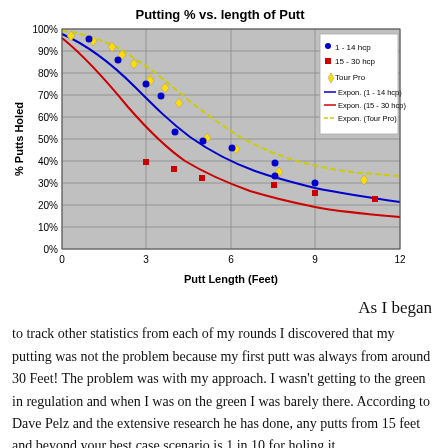[Figure (continuous-plot): Scatter plot with exponential trend lines showing putting percentage vs putt length in feet for three groups: 1-14 hcp (blue dots/line), 15-30 hcp (red squares/line), and Tour Pro (yellow diamonds/line). All three curves decline as putt length increases from 0 to 12 feet. Tour Pro curve is highest, 1-14 hcp in middle, 15-30 hcp lowest.]
As I began to track other statistics from each of my rounds I discovered that my putting was not the problem because my first putt was always from around 30 Feet! The problem was with my approach. I wasn't getting to the green in regulation and when I was on the green I was barely there. According to Dave Pelz and the extensive research he has done, any putts from 15 feet and beyond your best case scenario is 1 in 10 for holing it,